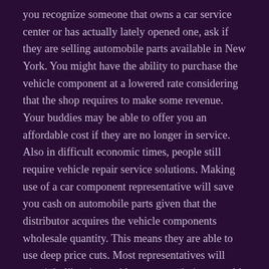you recognize someone that owns a car service center or has actually lately opened one, ask if they are selling automobile parts available in New York. You might have the ability to purchase the vehicle component at a lowered rate considering that the shop requires to make some revenue. Your buddies may be able to offer you an affordable cost if they are no longer in service. Also in difficult economic times, people still require vehicle repair service solutions. Making use of a car component representative will save you cash on automobile parts given that the distributor acquires the vehicle components wholesale quantity. This means they are able to use deep price cuts. Most representatives will certainly likewise enable you to trade-in your old vehicle part for a new one, which will conserve even more cash on components. There are likewise salvage car components shops in New York. These stores acquire all sort of junk cars as well as sell them as made use of parts. You can often locate these sorts of auto components up for sale in New York at huge savings. Remember that the